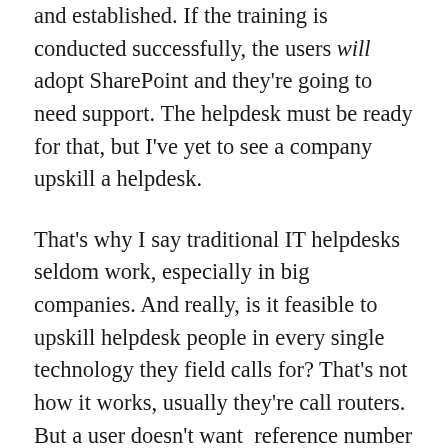and established. If the training is conducted successfully, the users will adopt SharePoint and they're going to need support. The helpdesk must be ready for that, but I've yet to see a company upskill a helpdesk.
That's why I say traditional IT helpdesks seldom work, especially in big companies. And really, is it feasible to upskill helpdesk people in every single technology they field calls for? That's not how it works, usually they're call routers. But a user doesn't want reference number and be told to wait 3 days just to add another field to a column. Also, most helpdesks are all about the